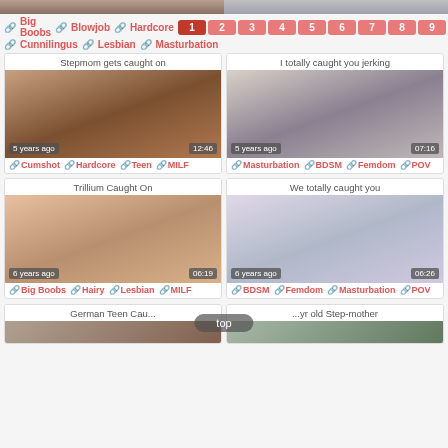Big Boobs  Blowjob  Hardcore  Cunnilingus  Lesbian  Masturbation
Pagination: 1 2 3 4 5 6 7 8 9 10 »
Stepmom gets caught on
[Figure (photo): Video thumbnail - stepmom content, 5 years ago, 12:46]
Cumshot  Hardcore  Teen  MILF
I totally caught you jerking
[Figure (photo): Video thumbnail - caught jerking content, 5 years ago, 07:16]
Masturbation  BDSM  Femdom  POV
Trillium Caught On
[Figure (photo): Video thumbnail - Trillium caught on, 6 years ago, 06:19]
Big Boobs  Hairy  Lesbian  MILF
We totally caught you
[Figure (photo): Video thumbnail - we totally caught you, 6 years ago, 06:26]
BDSM  Femdom  Masturbation  POV
German Teen Cau...
...yr old Step-mother